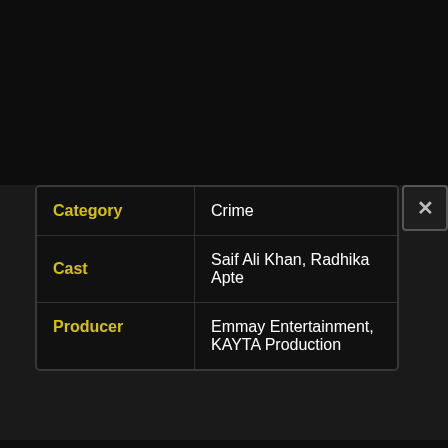|  |  |
| --- | --- |
| Category | Crime |
| Cast | Saif Ali Khan, Radhika Apte |
| Producer | Emmay Entertainment, KAYTA Production |
[Figure (photo): Movie advertisement for '5 Weddings' showing two actors in front of an ornate archway with a domed building. Text reads 'IN THEATERS', '5 WEDDINGS', 'OFFICIAL TRAILER']